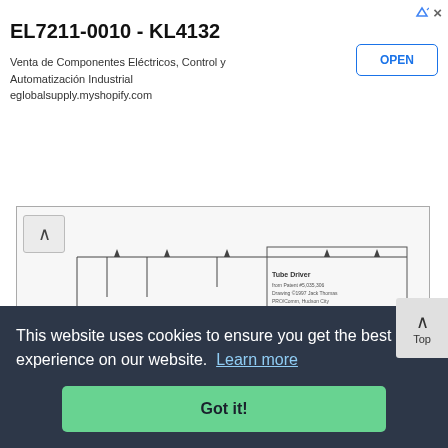EL7211-0010 - KL4132
Venta de Componentes Eléctricos, Control y Automatización Industrial eglobalsupply.myshopify.com
OPEN
[Figure (schematic): Electronic tube driver circuit schematic diagram with navigation up arrow button on left side]
Electron tubes How Electron tubes work, Early tube history, The triode, The tetrode, Beam power tubes, The pentode, Combination tubes, Tube parameters, Ionization (gas filled) tubes, Display tubes,...
This website uses cookies to ensure you get the best experience on our website.  Learn more
Got it!